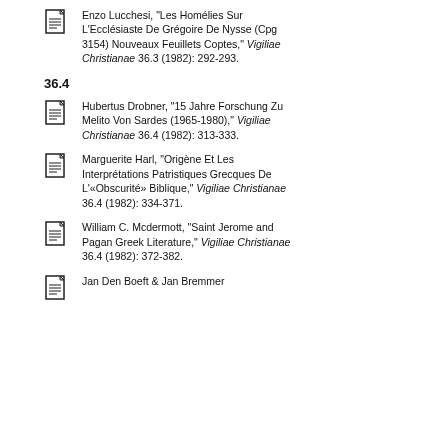Enzo Lucchesi, "Les Homélies Sur L'Ecclésiaste De Grégoire De Nysse (Cpg 3154) Nouveaux Feuillets Coptes," Vigiliae Christianae 36.3 (1982): 292-293.
36.4
Hubertus Drobner, "15 Jahre Forschung Zu Melito Von Sardes (1965-1980)," Vigiliae Christianae 36.4 (1982): 313-333.
Marguerite Harl, "Origène Et Les Interprétations Patristiques Grecques De L'«Obscurité» Biblique," Vigiliae Christianae 36.4 (1982): 334-371.
William C. Mcdermott, "Saint Jerome and Pagan Greek Literature," Vigiliae Christianae 36.4 (1982): 372-382.
Jan Den Boeft & Jan Bremmer